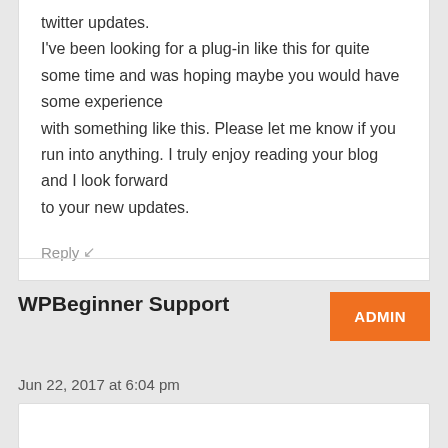twitter updates. I've been looking for a plug-in like this for quite some time and was hoping maybe you would have some experience with something like this. Please let me know if you run into anything. I truly enjoy reading your blog and I look forward to your new updates.
Reply ↵
WPBeginner Support
ADMIN
Jun 22, 2017 at 6:04 pm